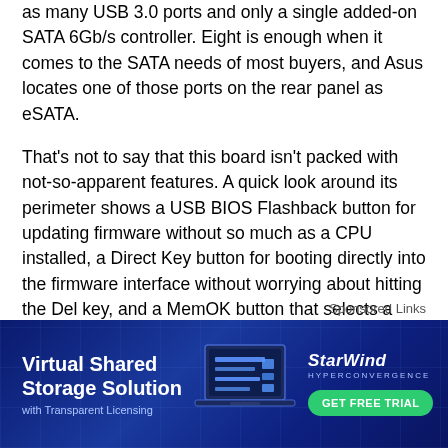as many USB 3.0 ports and only a single added-on SATA 6Gb/s controller. Eight is enough when it comes to the SATA needs of most buyers, and Asus locates one of those ports on the rear panel as eSATA.
That's not to say that this board isn't packed with not-so-apparent features. A quick look around its perimeter shows a USB BIOS Flashback button for updating firmware without so much as a CPU installed, a Direct Key button for booting directly into the firmware interface without worrying about hitting the Del key, and a MemOK button that selects a slower DRAM profile to allow booting with poorly-programmed modules.
Sponsored Links
[Figure (infographic): Advertisement banner for StarWind Hyperconvergence. Dark blue background with circuit board pattern. Left side shows 'Virtual Shared Storage Solution with Transparent Licensing'. Center shows a laptop illustration. Right side shows StarWind Hyperconvergence logo and a green 'GET FREE TRIAL' button.]